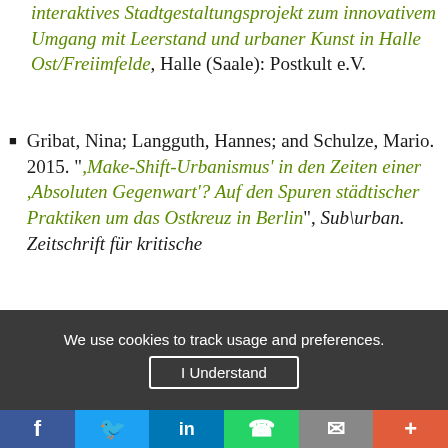interaktives Stadtgestaltungsprojekt zum innovativem Umgang mit Leerstand und urbaner Kunst in Halle Ost/Freiimfelde, Halle (Saale): Postkult e.V.
Gribat, Nina; Langguth, Hannes; and Schulze, Mario. 2015. ",Make-Shift-Urbanismus' in den Zeiten einer ,Absoluten Gegenwart'? Auf den Spuren städtischer Praktiken um das Ostkreuz in Berlin", Sub\urban. Zeitschrift für kritische
We use cookies to track usage and preferences.
I Understand